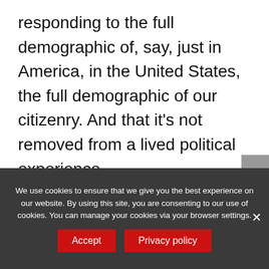responding to the full demographic of, say, just in America, in the United States, the full demographic of our citizenry. And that it's not removed from a lived political experience.
Amy Sadao (24:22):
And that's not to say that galleries and museums can't be a place that's a little bit removed from daily life that we
We use cookies to ensure that we give you the best experience on our website. By using this site, you are consenting to our use of cookies. You can manage your cookies via your browser settings.